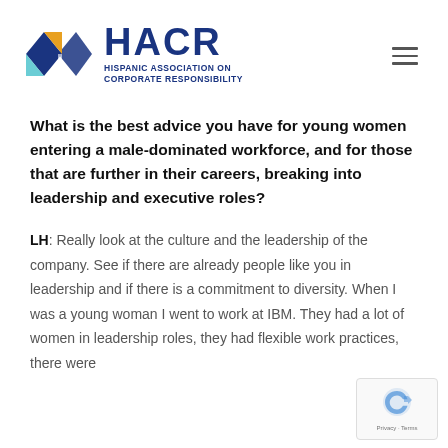[Figure (logo): HACR - Hispanic Association on Corporate Responsibility logo with geometric diamond shapes in dark blue, gold/yellow, and light blue]
What is the best advice you have for young women entering a male-dominated workforce, and for those that are further in their careers, breaking into leadership and executive roles?
LH: Really look at the culture and the leadership of the company. See if there are already people like you in leadership and if there is a commitment to diversity. When I was a young woman I went to work at IBM. They had a lot of women in leadership roles, they had flexible work practices, there were